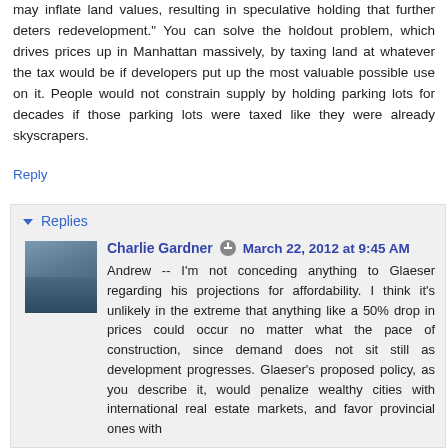may inflate land values, resulting in speculative holding that further deters redevelopment." You can solve the holdout problem, which drives prices up in Manhattan massively, by taxing land at whatever the tax would be if developers put up the most valuable possible use on it. People would not constrain supply by holding parking lots for decades if those parking lots were taxed like they were already skyscrapers.
Reply
Replies
Charlie Gardner  March 22, 2012 at 9:45 AM
Andrew -- I'm not conceding anything to Glaeser regarding his projections for affordability. I think it's unlikely in the extreme that anything like a 50% drop in prices could occur no matter what the pace of construction, since demand does not sit still as development progresses. Glaeser's proposed policy, as you describe it, would penalize wealthy cities with international real estate markets, and favor provincial ones with